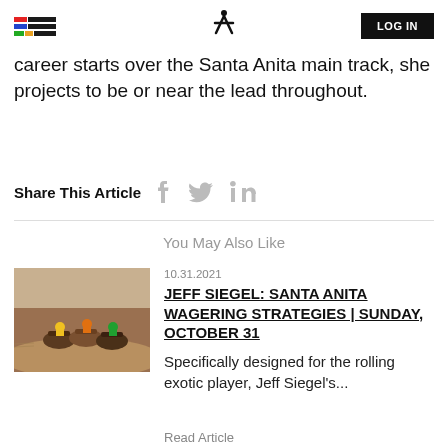LOG IN
career starts over the Santa Anita main track, she projects to be or near the lead throughout.
Share This Article
You May Also Like
[Figure (photo): Horse racing photo showing jockeys racing on a dirt track]
10.31.2021
JEFF SIEGEL: SANTA ANITA WAGERING STRATEGIES | SUNDAY, OCTOBER 31
Specifically designed for the rolling exotic player, Jeff Siegel's...
Read Article